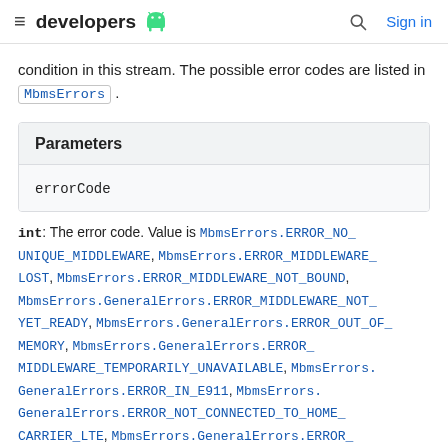≡ developers 🤖    🔍  Sign in
condition in this stream. The possible error codes are listed in MbmsErrors.
| Parameters |
| --- |
| errorCode |
int: The error code. Value is MbmsErrors.ERROR_NO_UNIQUE_MIDDLEWARE, MbmsErrors.ERROR_MIDDLEWARE_LOST, MbmsErrors.ERROR_MIDDLEWARE_NOT_BOUND, MbmsErrors.GeneralErrors.ERROR_MIDDLEWARE_NOT_YET_READY, MbmsErrors.GeneralErrors.ERROR_OUT_OF_MEMORY, MbmsErrors.GeneralErrors.ERROR_MIDDLEWARE_TEMPORARILY_UNAVAILABLE, MbmsErrors.GeneralErrors.ERROR_IN_E911, MbmsErrors.GeneralErrors.ERROR_NOT_CONNECTED_TO_HOME_CARRIER_LTE, MbmsErrors.GeneralErrors.ERROR_